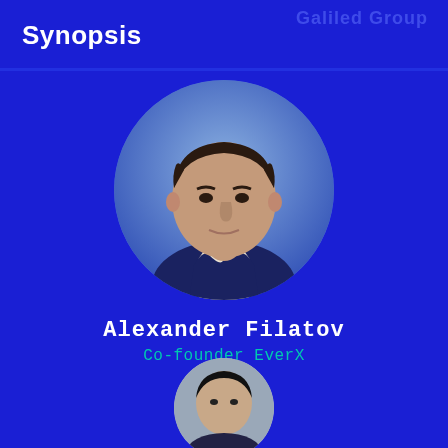Synopsis
[Figure (photo): Circular portrait photo of Alexander Filatov, a man wearing a dark blazer with white shirt, against a blue-grey background]
Alexander Filatov
Co-founder EverX
[Figure (photo): Partial circular portrait photo of a second person, visible from top of head, dark hair, cropped at bottom of page]